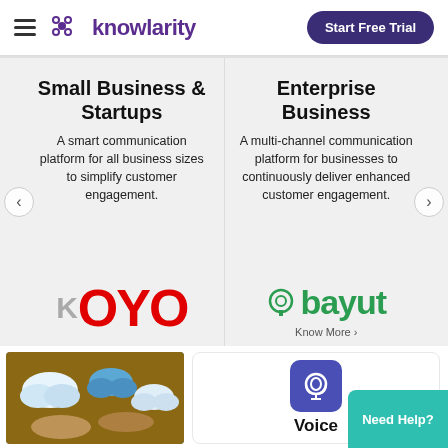Knowlarity — Start Free Trial
Small Business & Startups
A smart communication platform for all business sizes to simplify customer engagement.
[Figure (logo): OYO red logo with partial K prefix]
Enterprise Business
A multi-channel communication platform for businesses to continuously deliver enhanced customer engagement.
[Figure (logo): Bayut green logo with house-search icon]
Know More ›
[Figure (photo): Hands holding cloud icons, teamwork / cloud computing concept photo]
[Figure (illustration): Purple square icon with headphone symbol]
Voice
Need Help?